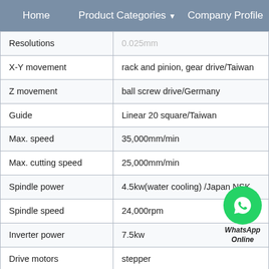Home  Product Categories  Company Profile
| Property | Value |
| --- | --- |
| Resolutions | 0.025mm |
| X-Y movement | rack and pinion, gear drive/Taiwan |
| Z movement | ball screw drive/Germany |
| Guide | Linear 20 square/Taiwan |
| Max. speed | 35,000mm/min |
| Max. cutting speed | 25,000mm/min |
| Spindle power | 4.5kw(water cooling) /Japan NSK |
| Spindle speed | 24,000rpm |
| Inverter power | 7.5kw |
| Drive motors | stepper |
| Working voltage | AC380V/50-60Hz, 3-phase |
| Command code | G code |
| Computer interface | USB 2.2 |
| Collet | ER25-12.7mm,6mm,3.175mm |
[Figure (other): WhatsApp Online floating button overlay]